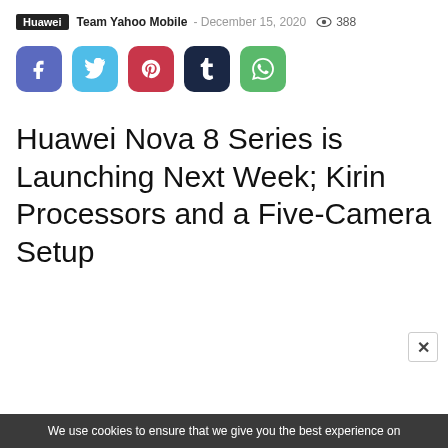Huawei  Team Yahoo Mobile - December 15, 2020  👁 388
[Figure (infographic): Row of five social share buttons: Facebook (purple-blue), Twitter (light blue), Pinterest (red), Tumblr (dark navy), WhatsApp (green)]
Huawei Nova 8 Series is Launching Next Week; Kirin Processors and a Five-Camera Setup
We use cookies to ensure that we give you the best experience on